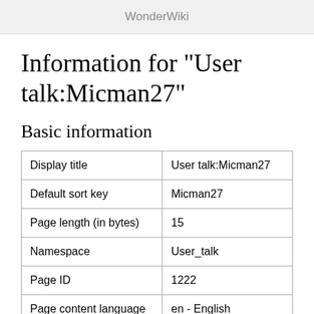WonderWiki
Information for "User talk:Micman27"
Basic information
|  |  |
| --- | --- |
| Display title | User talk:Micman27 |
| Default sort key | Micman27 |
| Page length (in bytes) | 15 |
| Namespace | User_talk |
| Page ID | 1222 |
| Page content language | en - English |
| Page content model | wikitext |